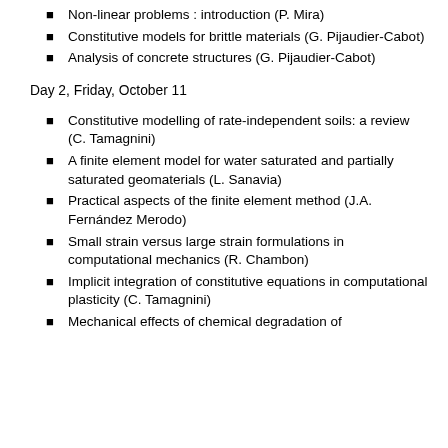Non-linear problems : introduction (P. Mira)
Constitutive models for brittle materials (G. Pijaudier-Cabot)
Analysis of concrete structures (G. Pijaudier-Cabot)
Day 2, Friday, October 11
Constitutive modelling of rate-independent soils: a review (C. Tamagnini)
A finite element model for water saturated and partially saturated geomaterials (L. Sanavia)
Practical aspects of the finite element method (J.A. Fernández Merodo)
Small strain versus large strain formulations in computational mechanics (R. Chambon)
Implicit integration of constitutive equations in computational plasticity (C. Tamagnini)
Mechanical effects of chemical degradation of